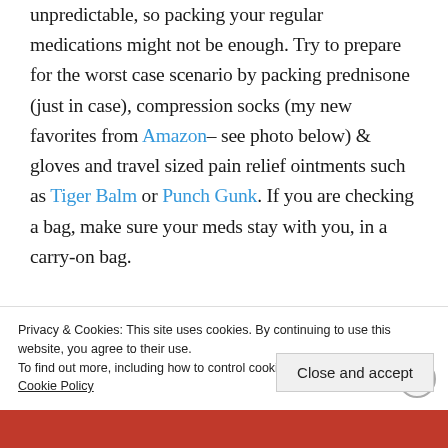unpredictable, so packing your regular medications might not be enough. Try to prepare for the worst case scenario by packing prednisone (just in case), compression socks (my new favorites from Amazon– see photo below) & gloves and travel sized pain relief ointments such as Tiger Balm or Punch Gunk. If you are checking a bag, make sure your meds stay with you, in a carry-on bag.
Privacy & Cookies: This site uses cookies. By continuing to use this website, you agree to their use.
To find out more, including how to control cookies, see here:
Cookie Policy